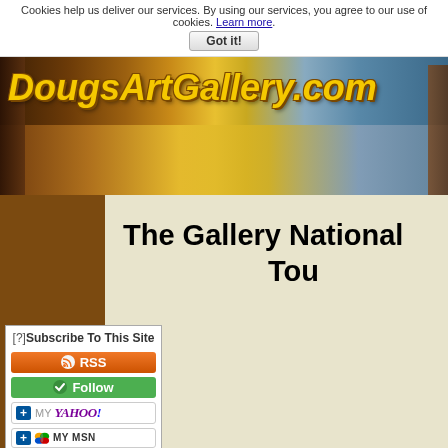Cookies help us deliver our services. By using our services, you agree to our use of cookies. Learn more.
Got it!
[Figure (illustration): DougsArtGallery.com website banner showing impressionist painting of landscape with trees, yellow fields, and blue sky. Site title 'DougsArtGallery.com' in bold italic gold/yellow text with brown outline.]
The Gallery National Tou
[Figure (infographic): Subscribe To This Site widget with RSS feed button (orange), Follow button (green), My Yahoo! button, My MSN button]